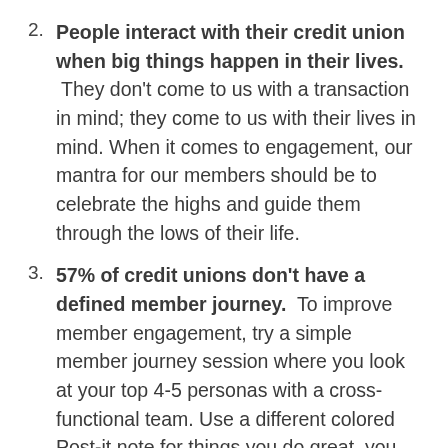2. People interact with their credit union when big things happen in their lives. They don't come to us with a transaction in mind; they come to us with their lives in mind. When it comes to engagement, our mantra for our members should be to celebrate the highs and guide them through the lows of their life.
3. 57% of credit unions don't have a defined member journey. To improve member engagement, try a simple member journey session where you look at your top 4-5 personas with a cross-functional team. Use a different colored Post-it note for things you do great, you do okay, and where you really need to improve. That can be the catalyst to getting buy-in, breaking down